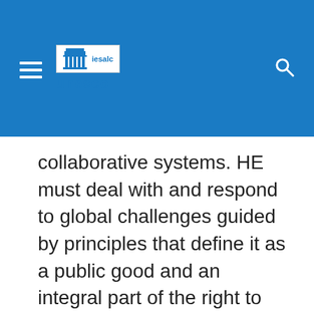UNESCO IESALC
collaborative systems. HE must deal with and respond to global challenges guided by principles that define it as a public good and an integral part of the right to education. UNESCO presented a roadmap for Higher Education for the next